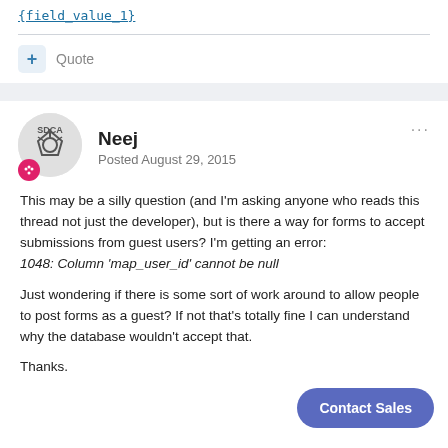{field_value_1}
Quote
Neej
Posted August 29, 2015
This may be a silly question (and I'm asking anyone who reads this thread not just the developer), but is there a way for forms to accept submissions from guest users? I'm getting an error: 1048: Column 'map_user_id' cannot be null

Just wondering if there is some sort of work around to allow people to post forms as a guest? If not that's totally fine I can understand why the database wouldn't accept that.

Thanks.